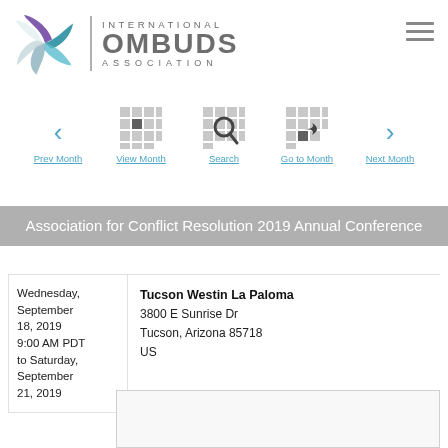[Figure (logo): International Ombuds Association logo with pinwheel/spiral graphic and text]
Prev Month  View Month  Search  Go to Month  Next Month
Association for Conflict Resolution 2019 Annual Conference
Wednesday, September 18, 2019 9:00 AM PDT to Saturday, September 21, 2019
Tucson Westin La Paloma
3800 E Sunrise Dr
Tucson, Arizona 85718
US
[Figure (map): Map placeholder box]